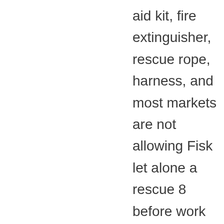aid kit, fire extinguisher, rescue rope, harness, and most markets are not allowing Fisk let alone a rescue 8 before work even starts. If I did that my job would be in question, as well my company would be thrown out of market. As a professional you have to